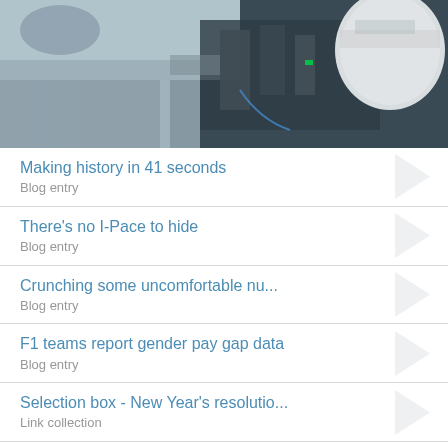[Figure (photo): Racing car pit stop scene with mechanics and driver wearing helmet, close-up of engine bay and equipment]
Making history in 41 seconds
Blog entry
There's no I-Pace to hide
Blog entry
Crunching some uncomfortable nu...
Blog entry
F1 teams report gender pay gap data
Blog entry
Selection box - New Year's resolutio...
Link collection
The Motorsport Saga: Breaking dawn
Blog entry
Selection box - What does this mea...
Link collection
Selection box - This and b...